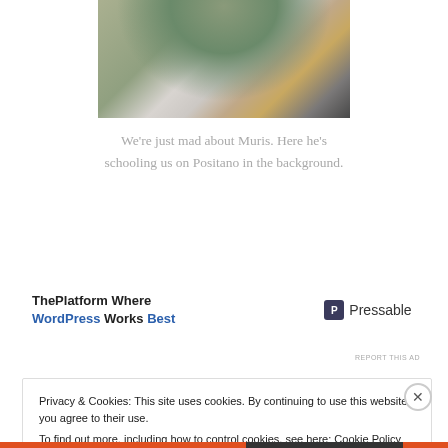[Figure (photo): A person with arms raised standing in front of a hillside town with white buildings, likely Positano, Italy.]
We're just mad about Muris. Here he's schooling us on Positano in the background.
[Figure (screenshot): Advertisement banner: 'ThePlatform Where WordPress Works Best' with Pressable logo on the right.]
REPORT THIS AD
Privacy & Cookies: This site uses cookies. By continuing to use this website, you agree to their use. To find out more, including how to control cookies, see here: Cookie Policy
Close and accept